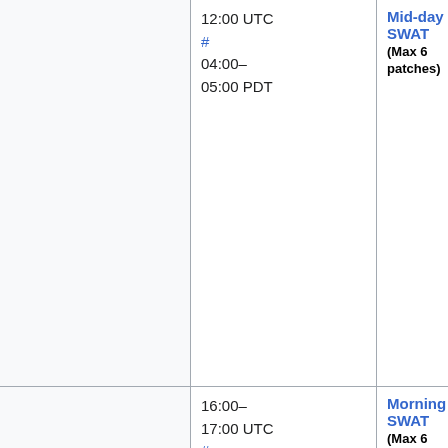| (left col) | Time | Event | People |
| --- | --- | --- | --- |
|  | 12:00 UTC
#
04:00–05:00 PDT | Mid-day SWAT
(Max 6 patches) | Amir (Amir1), M
(Lucas_WMDE)
Martin (Urbane |
|  | 16:00–17:00 UTC
#
09:00–10:00 PDT | Morning SWAT
(Max 6 patches) | Max (MaxSem),
(RoanKattouw
Niharika (Niha
or Martin
(Urbanecm) |
|  | 18:00–19:00 UTC
#
11:00–12:00 PDT | Pre MediaWiki train sanity break |  |
|  |  |  |  |